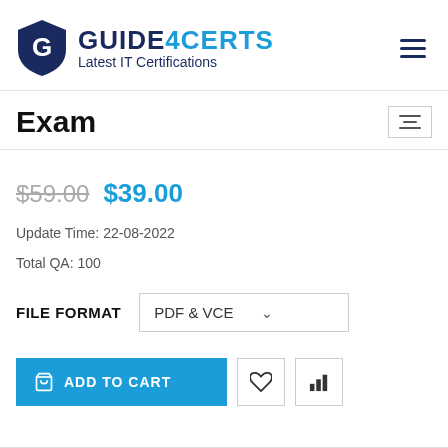[Figure (logo): Guide4Certs logo with shield icon and text 'GUIDE4CERTS Latest IT Certifications']
Exam
$59.00 $39.00
Update Time: 22-08-2022
Total QA: 100
FILE FORMAT   PDF & VCE
ADD TO CART